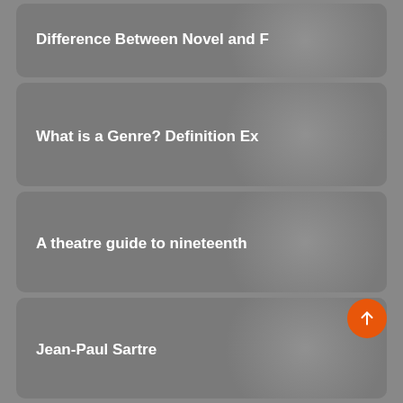Difference Between Novel and F
What is a Genre? Definition Ex
A theatre guide to nineteenth
Jean-Paul Sartre
Realism in American Literature